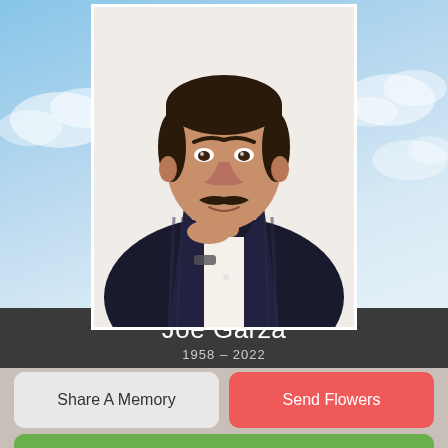[Figure (photo): Portrait photo of Joe Garza, a middle-aged man with a mustache wearing a dark striped jacket and white shirt, posed with hand near chin, against a white background. Sky with clouds visible in background behind the photo frame.]
Joe Garza
1958 – 2022
Share A Memory
Send Flowers
Plant A Tree